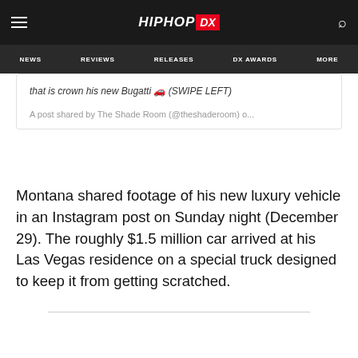HIPHOP DX
that is crown his new Bugatti 🚗 (SWIPE LEFT)
A post shared by The Shade Room (@theshaderoom) o...
Montana shared footage of his new luxury vehicle in an Instagram post on Sunday night (December 29). The roughly $1.5 million car arrived at his Las Vegas residence on a special truck designed to keep it from getting scratched.